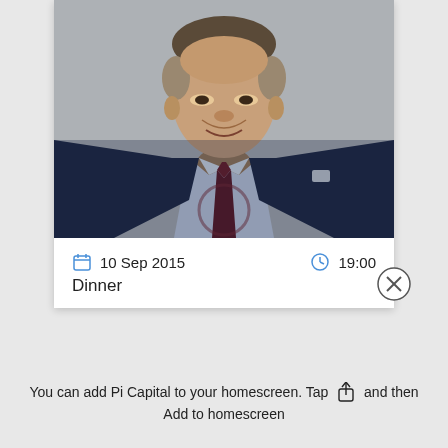[Figure (photo): Portrait photo of a middle-aged man in a dark navy suit, light blue striped shirt, and dark maroon tie, smiling, photographed from the chest up against a gray background.]
10 Sep 2015   19:00
Dinner
You can add Pi Capital to your homescreen. Tap [share icon] and then Add to homescreen